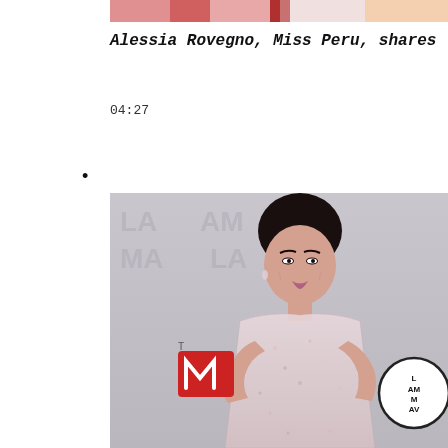[Figure (photo): Partial top strip of colorful images cropped at top of page]
Alessia Rovegno, Miss Peru, shares
04:27
[Figure (photo): Woman with dark hair in sparkly/sheer gown posing at Latin American Music Awards red carpet, with Telemundo logo and LAMA badge visible in background]